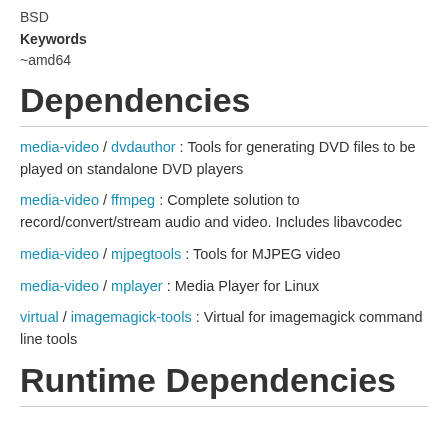BSD
Keywords
~amd64
Dependencies
media-video / dvdauthor : Tools for generating DVD files to be played on standalone DVD players
media-video / ffmpeg : Complete solution to record/convert/stream audio and video. Includes libavcodec
media-video / mjpegtools : Tools for MJPEG video
media-video / mplayer : Media Player for Linux
virtual / imagemagick-tools : Virtual for imagemagick command line tools
Runtime Dependencies